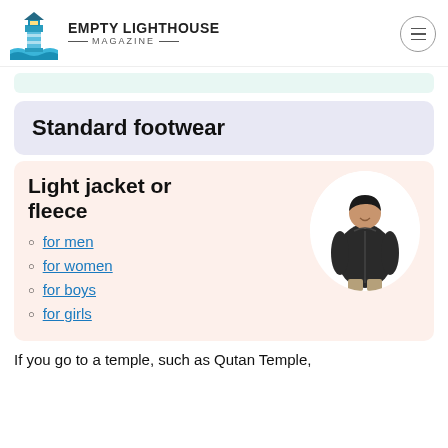EMPTY LIGHTHOUSE MAGAZINE
Standard footwear
Light jacket or fleece
for men
for women
for boys
for girls
[Figure (photo): Person wearing a dark fleece jacket]
If you go to a temple, such as Qutan Temple,